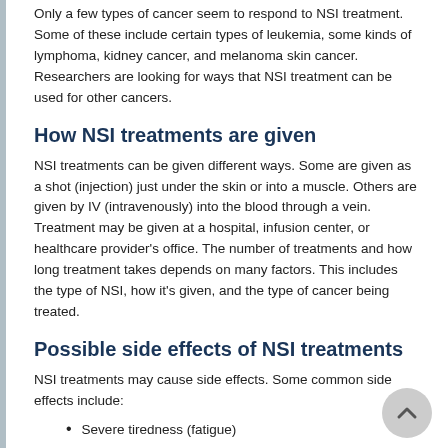Only a few types of cancer seem to respond to NSI treatment. Some of these include certain types of leukemia, some kinds of lymphoma, kidney cancer, and melanoma skin cancer. Researchers are looking for ways that NSI treatment can be used for other cancers.
How NSI treatments are given
NSI treatments can be given different ways. Some are given as a shot (injection) just under the skin or into a muscle. Others are given by IV (intravenously) into the blood through a vein. Treatment may be given at a hospital, infusion center, or healthcare provider's office. The number of treatments and how long treatment takes depends on many factors. This includes the type of NSI, how it's given, and the type of cancer being treated.
Possible side effects of NSI treatments
NSI treatments may cause side effects. Some common side effects include:
Severe tiredness (fatigue)
Bone and joint aches
Low blood pressure
Weakness
Fever
Chills
Allergic reaction, such as rash and hives